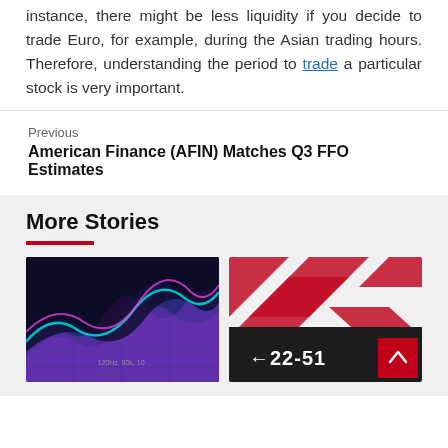instance, there might be less liquidity if you decide to trade Euro, for example, during the Asian trading hours. Therefore, understanding the period to trade a particular stock is very important.
Previous
American Finance (AFIN) Matches Q3 FFO Estimates
More Stories
[Figure (photo): Abstract colorful digital wave visualization with pink, purple and blue neon colored waves on a dark background]
[Figure (photo): Close-up of a street sign or financial sign showing '22-51' with red and white striped background, partial view]